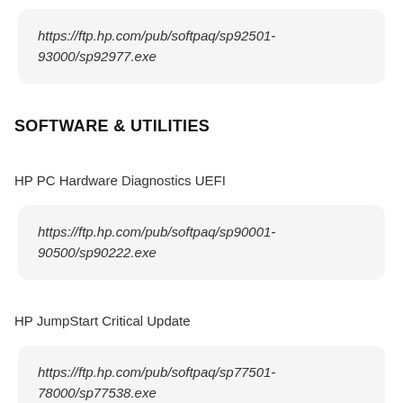https://ftp.hp.com/pub/softpaq/sp92501-93000/sp92977.exe
SOFTWARE & UTILITIES
HP PC Hardware Diagnostics UEFI
https://ftp.hp.com/pub/softpaq/sp90001-90500/sp90222.exe
HP JumpStart Critical Update
https://ftp.hp.com/pub/softpaq/sp77501-78000/sp77538.exe